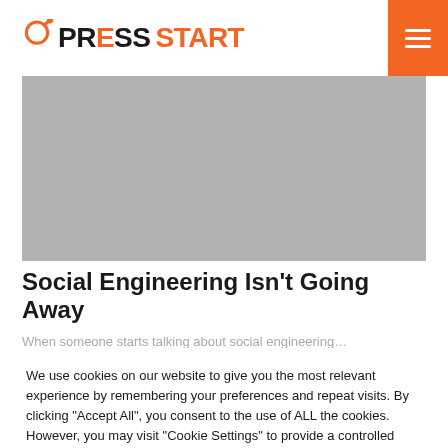PRESS START
[Figure (photo): Gray placeholder hero image for article]
Social Engineering Isn't Going Away
When someone starts talking about social engineering…
We use cookies on our website to give you the most relevant experience by remembering your preferences and repeat visits. By clicking "Accept All", you consent to the use of ALL the cookies. However, you may visit "Cookie Settings" to provide a controlled consent.